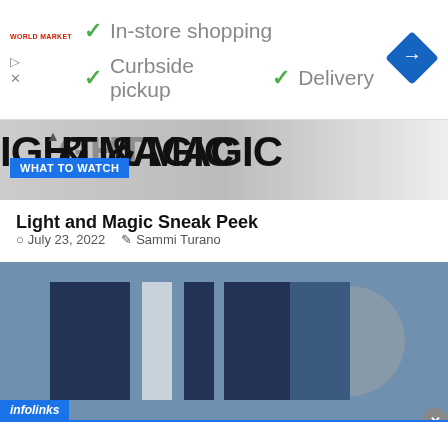[Figure (screenshot): Advertisement banner: World Market store with In-store shopping, Curbside pickup, Delivery checkmarks and blue diamond navigation icon]
[Figure (screenshot): What to Watch section header with Light & Magic title text behind blue label overlay]
Light and Magic Sneak Peek
July 23, 2022   Sammi Turano
[Figure (photo): Close-up photo of blue geometric shapes/panels, possibly the Light and Magic logo or sign]
[Figure (screenshot): Second advertisement banner: World Market store with In-store shopping, Curbside pickup, Delivery checkmarks and blue diamond navigation icon]
infolinks